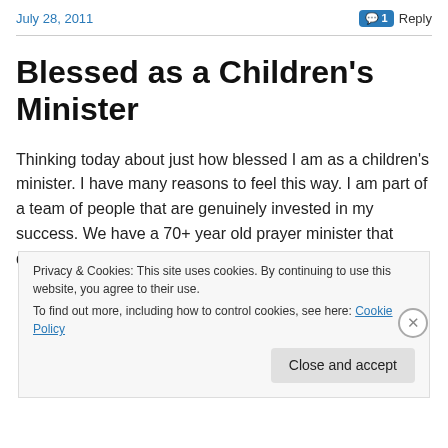July 28, 2011  💬 1 Reply
Blessed as a Children's Minister
Thinking today about just how blessed I am as a children's minister. I have many reasons to feel this way. I am part of a team of people that are genuinely invested in my success. We have a 70+ year old prayer minister that desires to pour into me each week. A senior leadership
Privacy & Cookies: This site uses cookies. By continuing to use this website, you agree to their use.
To find out more, including how to control cookies, see here: Cookie Policy
Close and accept